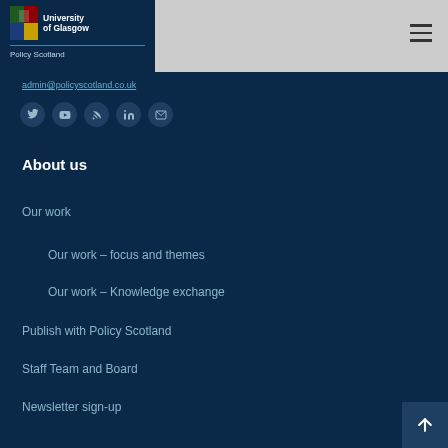University of Glasgow — Policy Scotland
admin@policyscotland.co.uk
[Figure (infographic): Social media icons row: Twitter, YouTube, RSS, LinkedIn, Email]
About us
Our work
Our work – focus and themes
Our work – Knowledge exchange
Publish with Policy Scotland
Staff Team and Board
Newsletter sign-up